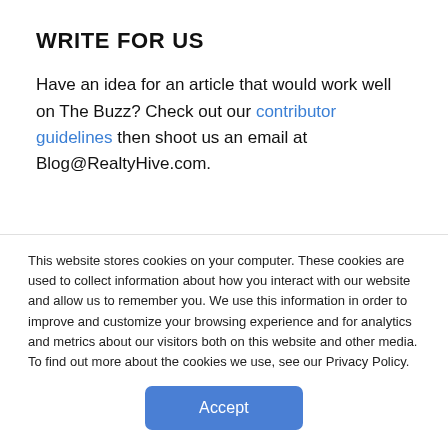WRITE FOR US
Have an idea for an article that would work well on The Buzz? Check out our contributor guidelines then shoot us an email at Blog@RealtyHive.com.
CONTACT INFO
This website stores cookies on your computer. These cookies are used to collect information about how you interact with our website and allow us to remember you. We use this information in order to improve and customize your browsing experience and for analytics and metrics about our visitors both on this website and other media. To find out more about the cookies we use, see our Privacy Policy.